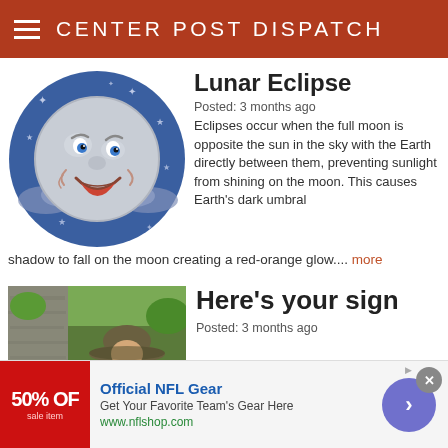CENTER POST DISPATCH
Lunar Eclipse
Posted: 3 months ago Eclipses occur when the full moon is opposite the sun in the sky with the Earth directly between them, preventing sunlight from shining on the moon. This causes Earth's dark umbral shadow to fall on the moon creating a red-orange glow.... more
[Figure (illustration): Cartoon smiling moon face with stars and clouds on dark blue circular background]
Here's your sign
Posted: 3 months ago
[Figure (photo): Person wearing a hat outdoors near trees]
[Figure (screenshot): Advertisement banner: Official NFL Gear - 50% OFF - Get Your Favorite Team's Gear Here - www.nflshop.com]